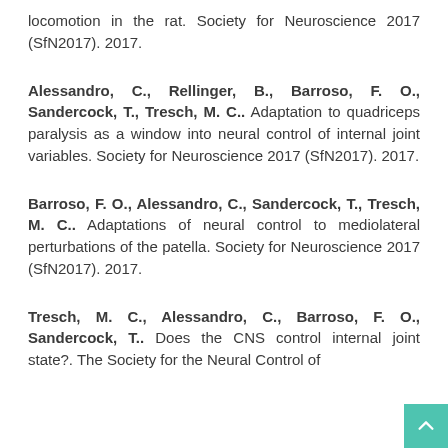locomotion in the rat. Society for Neuroscience 2017 (SfN2017). 2017.
Alessandro, C., Rellinger, B., Barroso, F. O., Sandercock, T., Tresch, M. C.. Adaptation to quadriceps paralysis as a window into neural control of internal joint variables. Society for Neuroscience 2017 (SfN2017). 2017.
Barroso, F. O., Alessandro, C., Sandercock, T., Tresch, M. C.. Adaptations of neural control to mediolateral perturbations of the patella. Society for Neuroscience 2017 (SfN2017). 2017.
Tresch, M. C., Alessandro, C., Barroso, F. O., Sandercock, T.. Does the CNS control internal joint state?. The Society for the Neural Control of